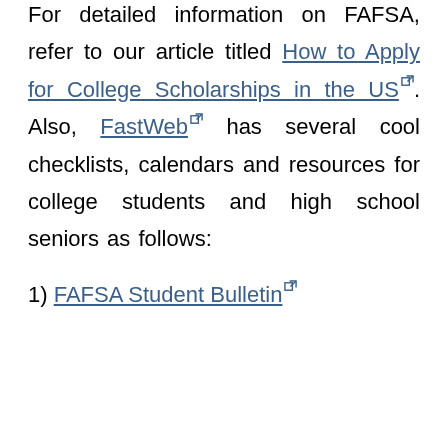For detailed information on FAFSA, refer to our article titled How to Apply for College Scholarships in the US. Also, FastWeb has several cool checklists, calendars and resources for college students and high school seniors as follows:
1) FAFSA Student Bulletin